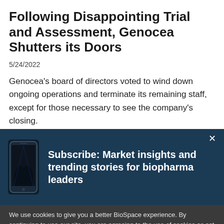Following Disappointing Trial and Assessment, Genocea Shutters its Doors
5/24/2022
Genocea's board of directors voted to wind down ongoing operations and terminate its remaining staff, except for those necessary to see the company's closing.
[Figure (screenshot): Dark blue subscription banner with a phone image on the left and bold white text: 'Subscribe: Market insights and trending stories for biopharma leaders'. An X close button is in the top right.]
We use cookies to give you a better BioSpace experience. By continuing to use our site, you are agreeing to the use of cookies as set in our Privacy Policy.